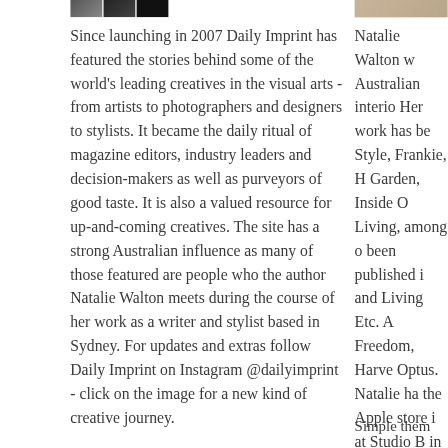[Figure (photo): Three small thumbnail images in a row - an interior/store scene, a person in black outfit, and a dark image with text]
[Figure (photo): Partial photo on right side showing a floor/feet]
Since launching in 2007 Daily Imprint has featured the stories behind some of the world's leading creatives in the visual arts - from artists to photographers and designers to stylists. It became the daily ritual of magazine editors, industry leaders and decision-makers as well as purveyors of good taste. It is also a valued resource for up-and-coming creatives. The site has a strong Australian influence as many of those featured are people who the author Natalie Walton meets during the course of her work as a writer and stylist based in Sydney. For updates and extras follow Daily Imprint on Instagram @dailyimprint - click on the image for a new kind of creative journey.
Natalie Walton w Australian interio Her work has be Style, Frankie, H Garden, Inside O Living, among o been published i and Living Etc. A Freedom, Harve Optus. Natalie ha the Apple store i at Studio B in th deputy editor at worked as a new time Natalie proc video reports an ABC Local Radi
Simple them